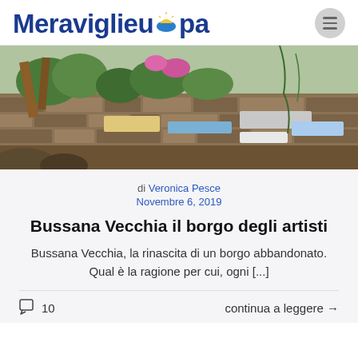Meraviglieuropa
[Figure (photo): Stone wall of an old Italian village (Bussana Vecchia) with vegetation, colorful flowers, and various signs attached to the wall]
di Veronica Pesce
Novembre 6, 2019
Bussana Vecchia il borgo degli artisti
Bussana Vecchia, la rinascita di un borgo abbandonato. Qual è la ragione per cui, ogni [...]
💬 10   continua a leggere →